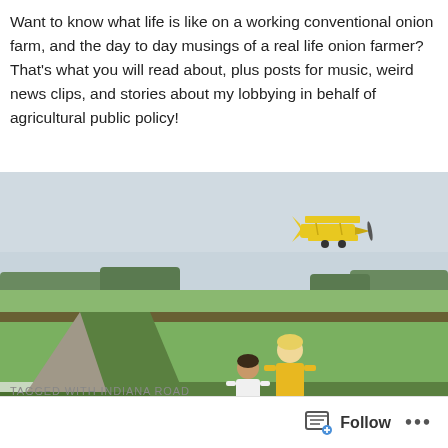Want to know what life is like on a working conventional onion farm, and the day to day musings of a real life onion farmer? That's what you will read about, plus posts for music, weird news clips, and stories about my lobbying in behalf of agricultural public policy!
[Figure (photo): Two children standing on a farm road looking at a yellow biplane flying low over green agricultural fields. Overcast sky in the background with distant tree line.]
TAGGED WITH INDIANA ROAD
Follow ...